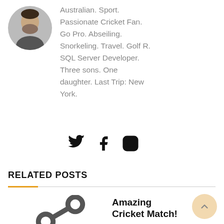[Figure (photo): Circular avatar photo of a man with beard, partially visible at top]
Australian. Sport. Passionate Cricket Fan. Go Pro. Abseiling. Snorkeling. Travel. Golf R. SQL Server Developer. Three sons. One daughter. Last Trip: New York.
[Figure (other): Social media icons: Twitter bird, Facebook f, Instagram camera outline]
RELATED POSTS
[Figure (photo): Cricket match photo showing a batsman playing a shot and a wicket-keeper crouching, on a green field with red brick wall background]
Amazing Cricket Match!
ON: AUGUST 1, 2005